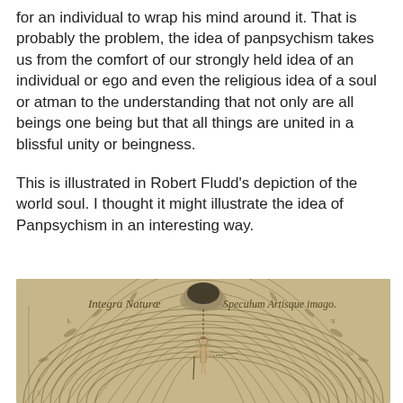for an individual to wrap his mind around it. That is probably the problem, the idea of panpsychism takes us from the comfort of our strongly held idea of an individual or ego and even the religious idea of a soul or atman to the understanding that not only are all beings one being but that all things are united in a blissful unity or beingness.
This is illustrated in Robert Fludd's depiction of the world soul. I thought it might illustrate the idea of Panpsychism in an interesting way.
[Figure (illustration): Robert Fludd's engraving of the world soul (Integra Naturae, Speculum Artisque imago) — a female figure standing on concentric arcs with a chain connecting her to a cloud above, surrounded by circular bands representing the cosmos.]